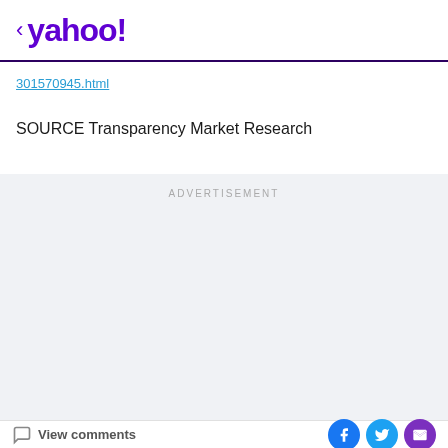< yahoo!
301570945.html
SOURCE Transparency Market Research
[Figure (other): Advertisement placeholder area with light gray background and ADVERTISEMENT label]
View comments | Facebook share | Twitter share | Email share